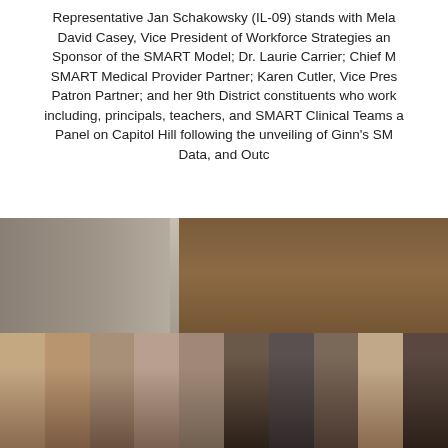Representative Jan Schakowsky (IL-09) stands with Mela... David Casey, Vice President of Workforce Strategies and Sponsor of the SMART Model; Dr. Laurie Carrier; Chief Me... SMART Medical Provider Partner; Karen Cutler, Vice Pres... Patron Partner; and her 9th District constituents who work... including, principals, teachers, and SMART Clinical Teams a... Panel on Capitol Hill following the unveiling of Ginn's SMA... Data, and Outc...
[Figure (photo): Group photo of Representative Jan Schakowsky with David Casey, Dr. Laurie Carrier, Karen Cutler, and 9th District constituents including principals, teachers, and SMART Clinical Teams, taken at a panel on Capitol Hill. Sponsors include CVS Health and Aramark visible on a banner behind the group.]